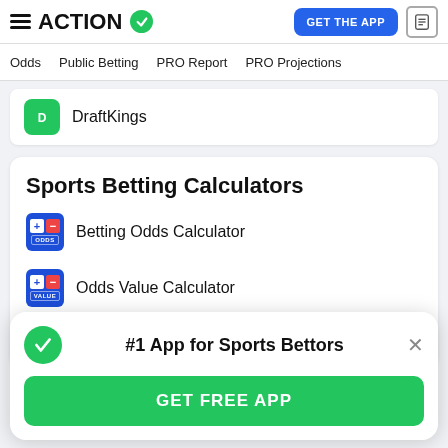ACTION — GET THE APP
Odds | Public Betting | PRO Report | PRO Projections
DraftKings
Sports Betting Calculators
Betting Odds Calculator
Odds Value Calculator
Betting Odds Converter
#1 App for Sports Bettors
GET FREE APP